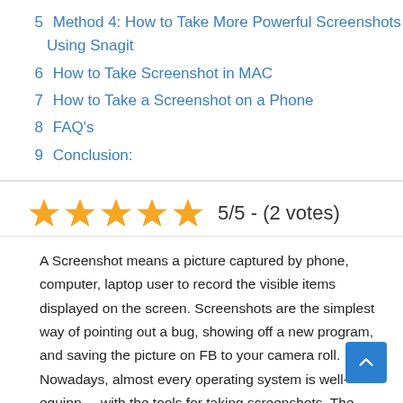5  Method 4: How to Take More Powerful Screenshots Using Snagit
6  How to Take Screenshot in MAC
7  How to Take a Screenshot on a Phone
8  FAQ's
9  Conclusion:
[Figure (other): 5 orange star rating icons]
5/5 - (2 votes)
A Screenshot means a picture captured by phone, computer, laptop user to record the visible items displayed on the screen. Screenshots are the simplest way of pointing out a bug, showing off a new program, and saving the picture on FB to your camera roll. Nowadays, almost every operating system is well-equipped with the tools for taking screenshots. The screenshots save as graphics files. If you are wondering how to take a screenshot